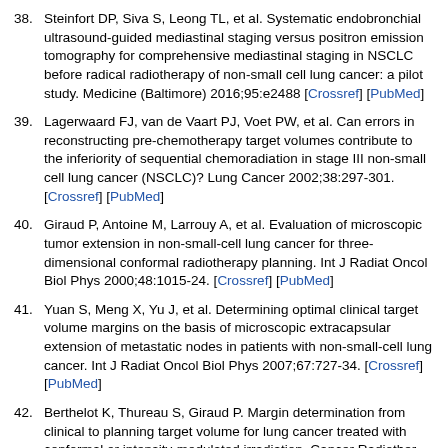38. Steinfort DP, Siva S, Leong TL, et al. Systematic endobronchial ultrasound-guided mediastinal staging versus positron emission tomography for comprehensive mediastinal staging in NSCLC before radical radiotherapy of non-small cell lung cancer: a pilot study. Medicine (Baltimore) 2016;95:e2488 [Crossref] [PubMed]
39. Lagerwaard FJ, van de Vaart PJ, Voet PW, et al. Can errors in reconstructing pre-chemotherapy target volumes contribute to the inferiority of sequential chemoradiation in stage III non-small cell lung cancer (NSCLC)? Lung Cancer 2002;38:297-301. [Crossref] [PubMed]
40. Giraud P, Antoine M, Larrouy A, et al. Evaluation of microscopic tumor extension in non-small-cell lung cancer for three-dimensional conformal radiotherapy planning. Int J Radiat Oncol Biol Phys 2000;48:1015-24. [Crossref] [PubMed]
41. Yuan S, Meng X, Yu J, et al. Determining optimal clinical target volume margins on the basis of microscopic extracapsular extension of metastatic nodes in patients with non-small-cell lung cancer. Int J Radiat Oncol Biol Phys 2007;67:727-34. [Crossref] [PubMed]
42. Berthelot K, Thureau S, Giraud P. Margin determination from clinical to planning target volume for lung cancer treated with conformal or intensity-modulated irradiation. Cancer Radiother 2016;20:616-21. [Crossref] [PubMed]
43. van Diessen JN, Chen C, van den Heuvel MM, et al. Differential analysis of local and regional failure in locally advanced non-